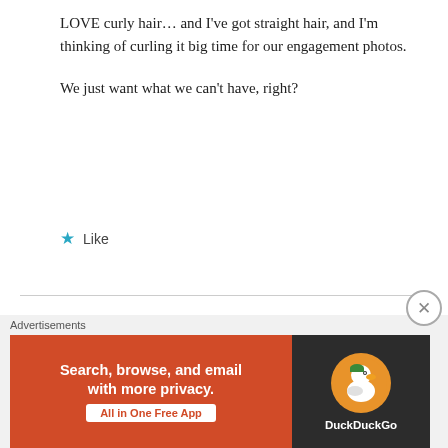LOVE curly hair… and I've got straight hair, and I'm thinking of curling it big time for our engagement photos.

We just want what we can't have, right?
Like
BermudaOnion
APRIL 4, 2013 AT 6:45 AM
[Figure (other): Advertisement banner for DuckDuckGo: 'Search, browse, and email with more privacy. All in One Free App']